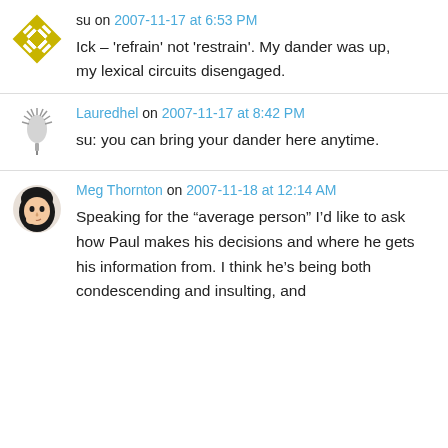su on 2007-11-17 at 6:53 PM
Ick – 'refrain' not 'restrain'. My dander was up, my lexical circuits disengaged.
Lauredhel on 2007-11-17 at 8:42 PM
su: you can bring your dander here anytime.
Meg Thornton on 2007-11-18 at 12:14 AM
Speaking for the “average person” I’d like to ask how Paul makes his decisions and where he gets his information from. I think he’s being both condescending and insulting, and